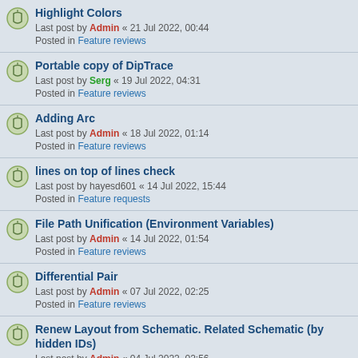Highlight Colors
Last post by Admin « 21 Jul 2022, 00:44
Posted in Feature reviews
Portable copy of DipTrace
Last post by Serg « 19 Jul 2022, 04:31
Posted in Feature reviews
Adding Arc
Last post by Admin « 18 Jul 2022, 01:14
Posted in Feature reviews
lines on top of lines check
Last post by hayesd601 « 14 Jul 2022, 15:44
Posted in Feature requests
File Path Unification (Environment Variables)
Last post by Admin « 14 Jul 2022, 01:54
Posted in Feature reviews
Differential Pair
Last post by Admin « 07 Jul 2022, 02:25
Posted in Feature reviews
Renew Layout from Schematic. Related Schematic (by hidden IDs)
Last post by Admin « 04 Jul 2022, 02:56
Posted in Feature reviews
Renew Layout from Schematic. By RefDes
Last post by Admin « 30 Jun 2022, 02:43
Posted in Feature reviews
DipTrace Community in Telegram.
Last post by Serg « 27 Jun 2022, 08:57
Posted in DipTrace Under the Spotlight
Renew Layout from Schematic. By Components (by hidden IDs)
Last post by Admin « 27 Jun 2022, 08:02